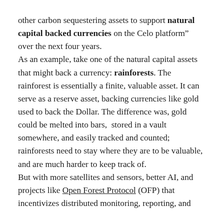other carbon sequestering assets to support natural capital backed currencies on the Celo platform” over the next four years.
As an example, take one of the natural capital assets that might back a currency: rainforests. The rainforest is essentially a finite, valuable asset. It can serve as a reserve asset, backing currencies like gold used to back the Dollar. The difference was, gold could be melted into bars, stored in a vault somewhere, and easily tracked and counted; rainforests need to stay where they are to be valuable, and are much harder to keep track of.
But with more satellites and sensors, better AI, and projects like Open Forest Protocol (OFP) that incentivizes distributed monitoring, reporting, and